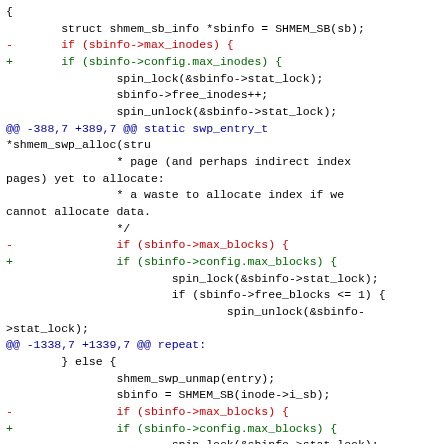Diff/patch code showing modifications to shmem filesystem code, including hunk headers and added/removed lines for sbinfo->max_inodes, sbinfo->config.max_inodes, sbinfo->max_blocks, and sbinfo->config.max_blocks